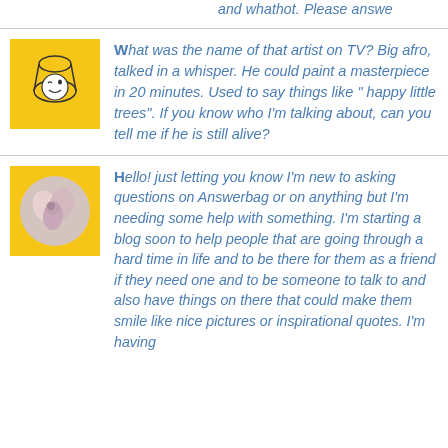and whathot. Please answe
What was the name of that artist on TV? Big afro, talked in a whisper. He could paint a masterpiece in 20 minutes. Used to say things like " happy little trees". If you know who I'm talking about, can you tell me if he is still alive?
Hello! just letting you know I'm new to asking questions on Answerbag or on anything but I'm needing some help with something. I'm starting a blog soon to help people that are going through a hard time in life and to be there for them as a friend if they need one and to be someone to talk to and also have things on there that could make them smile like nice pictures or inspirational quotes. I'm having